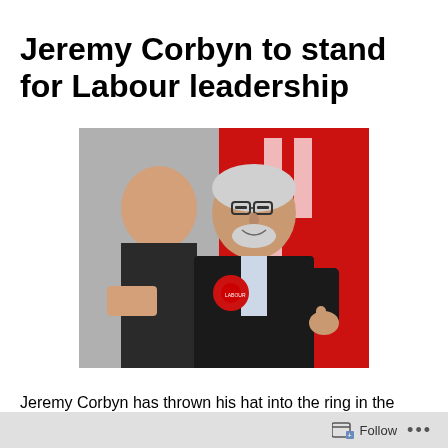Jeremy Corbyn to stand for Labour leadership
[Figure (photo): Jeremy Corbyn smiling and giving a thumbs up, wearing a red Labour rosette on his dark jacket. Another person is partially visible behind him, and a red Labour banner is in the background.]
Jeremy Corbyn has thrown his hat into the ring in the forthcoming Labour leadership contest in a surprise move that immediately sees him as favourite to win.
This unexpected turn of events sees Mr Corbyn as the
Follow ...